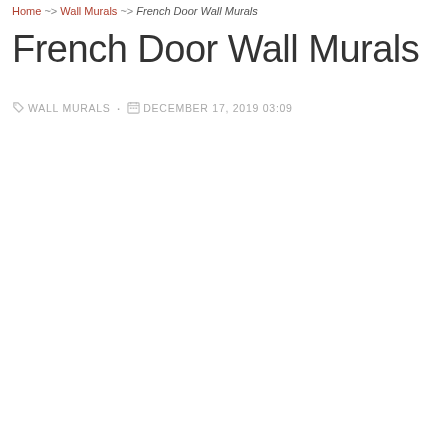Home ~> Wall Murals ~> French Door Wall Murals
French Door Wall Murals
WALL MURALS  •  DECEMBER 17, 2019 03:09